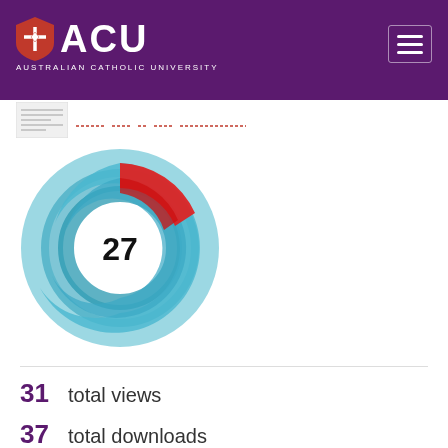[Figure (logo): ACU Australian Catholic University logo with shield icon on purple header, with hamburger menu icon on right]
[Figure (donut-chart): Altmetric donut chart showing score of 27, with concentric swirling blue and red arcs forming a spiral donut shape with white center showing number 27]
31  total views
37  total downloads